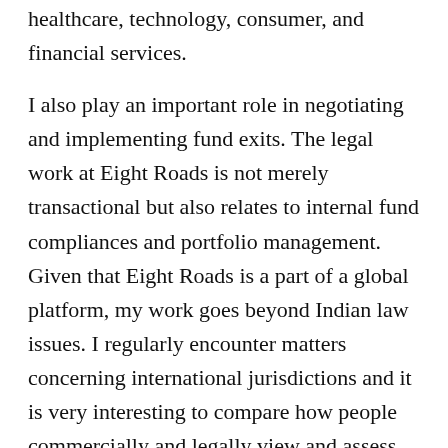healthcare, technology, consumer, and financial services.
I also play an important role in negotiating and implementing fund exits. The legal work at Eight Roads is not merely transactional but also relates to internal fund compliances and portfolio management. Given that Eight Roads is a part of a global platform, my work goes beyond Indian law issues. I regularly encounter matters concerning international jurisdictions and it is very interesting to compare how people commercially and legally view and assess risks associated with VC/PE deals in different jurisdictions.
ERVI also endorses CSR activities and I am honoured to have been given a chance to spearhead these.
A very important aspect of my role is balancing commercial